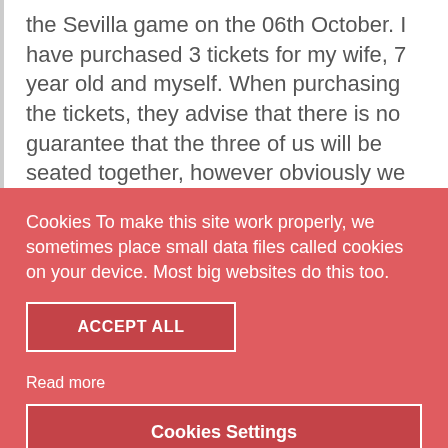the Sevilla game on the 06th October. I have purchased 3 tickets for my wife, 7 year old and myself. When purchasing the tickets, they advise that there is no guarantee that the three of us will be seated together, however obviously we would much prefer if we were. Do you know if normally they do sit three together?? is it worthwhile contacting the ticket
Cookies To make this site work properly, we sometimes place small data files called cookies on your device. Most big websites do this too.
ACCEPT ALL
Read more
Cookies Settings